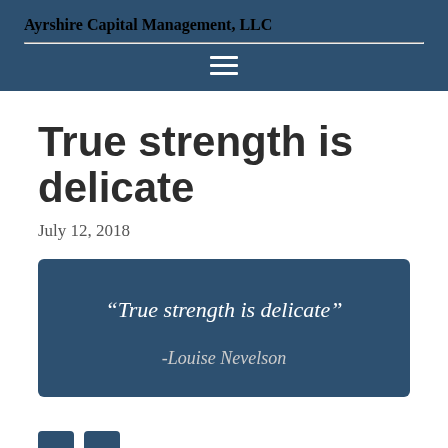Ayrshire Capital Management, LLC
True strength is delicate
July 12, 2018
“True strength is delicate”

-Louise Nevelson